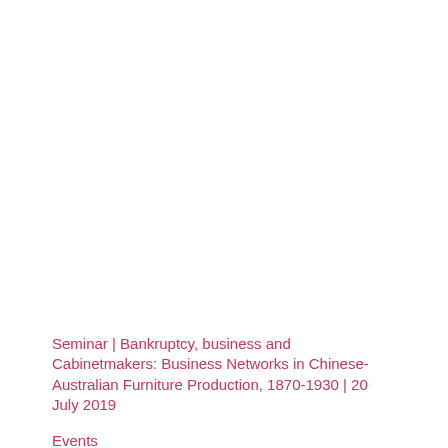Seminar | Bankruptcy, business and Cabinetmakers: Business Networks in Chinese-Australian Furniture Production, 1870-1930 | 20 July 2019
Events